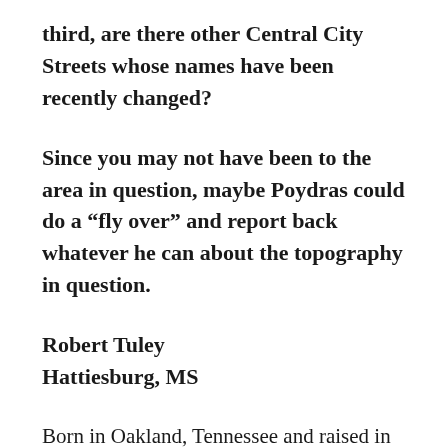third, are there other Central City Streets whose names have been recently changed?
Since you may not have been to the area in question, maybe Poydras could do a “fly over” and report back whatever he can about the topography in question.
Robert Tuley
Hattiesburg, MS
Born in Oakland, Tennessee and raised in New Orleans, Oretha Castle Haley (1939-’87) became involved in the civil rights movement while at student at Southern University New